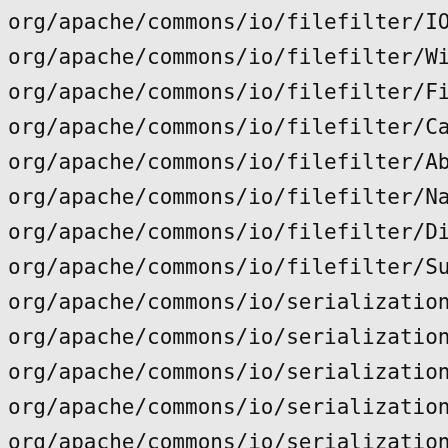org/apache/commons/io/filefilter/IOFileFil
org/apache/commons/io/filefilter/WildcardF
org/apache/commons/io/filefilter/FileFileF
org/apache/commons/io/filefilter/CanReadFi
org/apache/commons/io/filefilter/AbstractF
org/apache/commons/io/filefilter/NameFileF
org/apache/commons/io/filefilter/Directory
org/apache/commons/io/filefilter/SuffixFil
org/apache/commons/io/serialization/FullCl
org/apache/commons/io/serialization/Valida
org/apache/commons/io/serialization/Regexp
org/apache/commons/io/serialization/ClassN
org/apache/commons/io/serialization/Wildca
org/apache/commons/io/output/AppendableOut
org/apache/commons/io/output/TaggedOutputS
org/apache/commons/io/output/ProxyOutputSt
org/apache/commons/io/output/NullOutputSt